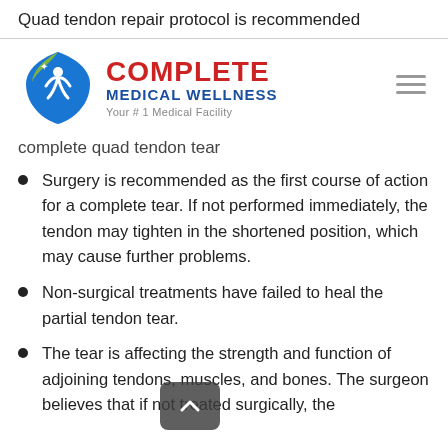Quad tendon repair protocol is recommended
[Figure (logo): Complete Medical Wellness logo with shield icon, tagline: Your #1 Medical Facility]
complete quad tendon tear
Surgery is recommended as the first course of action for a complete tear. If not performed immediately, the tendon may tighten in the shortened position, which may cause further problems.
Non-surgical treatments have failed to heal the partial tendon tear.
The tear is affecting the strength and function of adjoining tendons, muscles, and bones. The surgeon believes that if not treated surgically, the